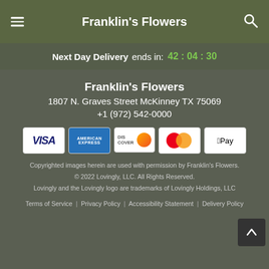Franklin's Flowers
Next Day Delivery ends in: 42 : 04 : 30
Franklin's Flowers
1807 N. Graves Street McKinney TX 75069
+1 (972) 542-0000
[Figure (other): Payment method icons: Visa, American Express, Discover, Mastercard, Apple Pay]
Copyrighted images herein are used with permission by Franklin's Flowers.
© 2022 Lovingly, LLC. All Rights Reserved.
Lovingly and the Lovingly logo are trademarks of Lovingly Holdings, LLC
Terms of Service | Privacy Policy | Accessibility Statement | Delivery Policy